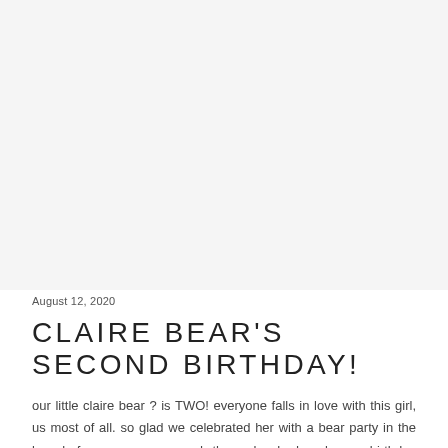[Figure (photo): Large photo area at the top of the page, shown as light gray/white background placeholder]
August 12, 2020
CLAIRE BEAR'S SECOND BIRTHDAY!
our little claire bear ? is TWO! everyone falls in love with this girl, us most of all. so glad we celebrated her with a bear party in the bay before our move, and then she had a bonus birthday celebration on her actual day …